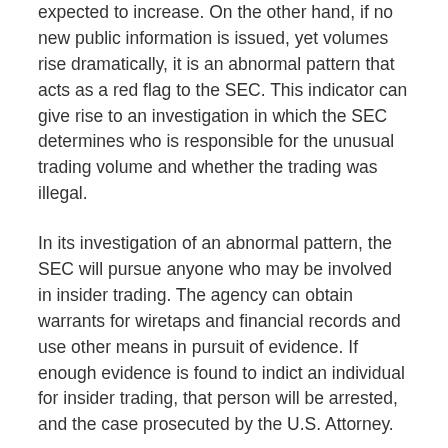expected to increase. On the other hand, if no new public information is issued, yet volumes rise dramatically, it is an abnormal pattern that acts as a red flag to the SEC. This indicator can give rise to an investigation in which the SEC determines who is responsible for the unusual trading volume and whether the trading was illegal.
In its investigation of an abnormal pattern, the SEC will pursue anyone who may be involved in insider trading. The agency can obtain warrants for wiretaps and financial records and use other means in pursuit of evidence. If enough evidence is found to indict an individual for insider trading, that person will be arrested, and the case prosecuted by the U.S. Attorney.
What Are the Penalties for Insider Trading?